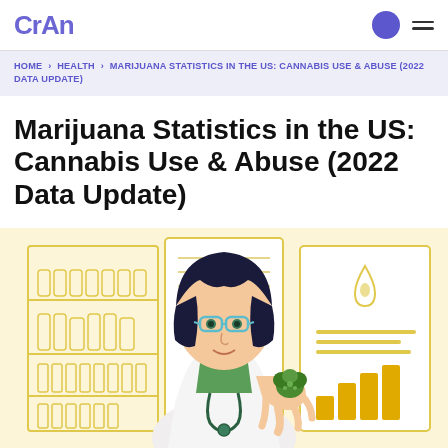CRAN
HOME › HEALTH › MARIJUANA STATISTICS IN THE US: CANNABIS USE & ABUSE (2022 DATA UPDATE)
Marijuana Statistics in the US: Cannabis Use & Abuse (2022 Data Update)
[Figure (illustration): Illustration of a female doctor in a white lab coat and green scrubs, wearing blue glasses, holding a cannabis bud. Behind her are shelves of medicine bottles on the left and a chart/diagram on the right with a cannabis oil drop icon and bar chart. Background is light yellow.]